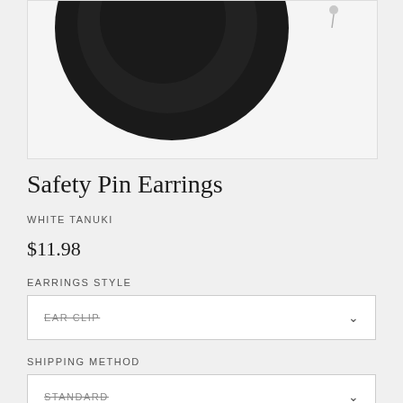[Figure (photo): Product photo of black circular earring accessory on white background, partially cropped]
Safety Pin Earrings
WHITE TANUKI
$11.98
EARRINGS STYLE
EAR CLIP
SHIPPING METHOD
STANDARD